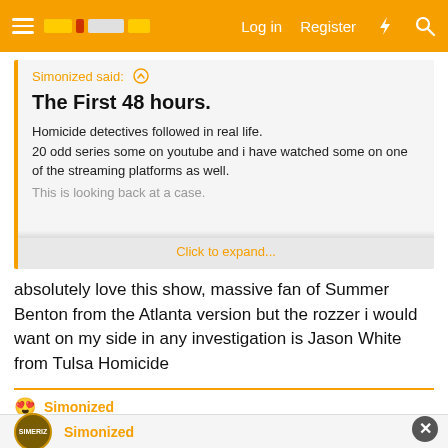Log in  Register
Simonized said: ↑
The First 48 hours.
Homicide detectives followed in real life.
20 odd series some on youtube and i have watched some on one of the streaming platforms as well.
This is looking back at a case.
Click to expand...
absolutely love this show, massive fan of Summer Benton from the Atlanta version but the rozzer i would want on my side in any investigation is Jason White from Tulsa Homicide
😍 Simonized
Simonized